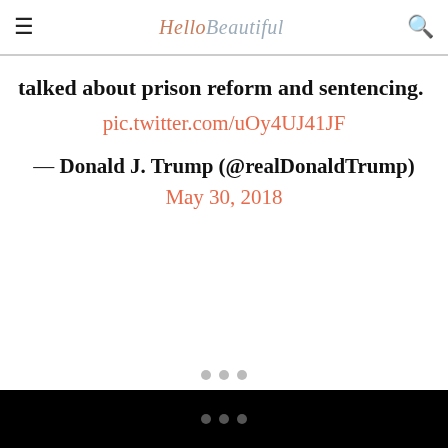HelloBeautiful
talked about prison reform and sentencing. pic.twitter.com/uOy4UJ41JF
— Donald J. Trump (@realDonaldTrump) May 30, 2018